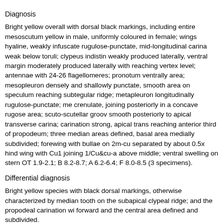Diagnosis
Bright yellow overall with dorsal black markings, including entire mesoscutum yellow in male, uniformly coloured in female; wings hyaline, weakly infuscate rugulose-punctate, mid-longitudinal carina weak below toruli; clypeus indistin weakly produced laterally, ventral margin moderately produced laterally with reaching vertex level; antennae with 24-26 flagellomeres; pronotum ventrally area; mesopleuron densely and shallowly punctate, smooth area on speculum reaching subtegular ridge; metapleuron longitudinally rugulose-punctate; me crenulate, joining posteriorly in a concave rugose area; scuto-scutellar groov smooth posteriorly to apical transverse carina; carination strong, apical trans reaching anterior third of propodeum; three median areas defined, basal area medially subdivided; forewing with bullae on 2m-cu separated by about 0.5x hind wing with Cu1 joining 1/Cu&cu-a above middle; ventral swelling on stern OT 1.9-2.1; B 8.2-8.7; A 6.2-6.4; F 8.0-8.5 (3 specimens).
Differential diagnosis
Bright yellow species with black dorsal markings, otherwise characterized by median tooth on the subapical clypeal ridge; and the propodeal carination wi forward and the central area defined and subdivided.
Material examined
Holotype ♂: [Democratic Republic of Congo] Katanga Kalule N. -1934, Ch. S Nkoemvon, viii-x 1980, Ms. D. Jackson (BMNH); 19: Cameroun, env. Yaound
Distribution
Democratic Republic of Congo. New record: Cameroon. Phorotrophus mac